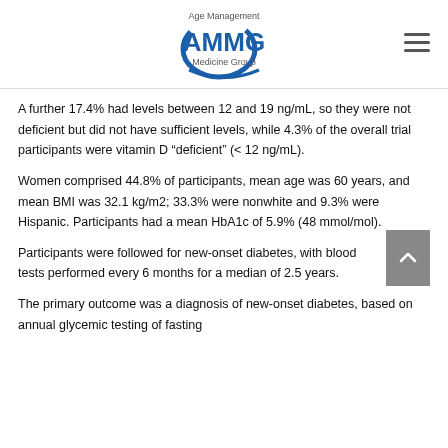Age Management AMMG Medicine Group
A further 17.4% had levels between 12 and 19 ng/mL, so they were not deficient but did not have sufficient levels, while 4.3% of the overall trial participants were vitamin D “deficient” (< 12 ng/mL).
Women comprised 44.8% of participants, mean age was 60 years, and mean BMI was 32.1 kg/m2; 33.3% were nonwhite and 9.3% were Hispanic. Participants had a mean HbA1c of 5.9% (48 mmol/mol).
Participants were followed for new-onset diabetes, with blood tests performed every 6 months for a median of 2.5 years.
The primary outcome was a diagnosis of new-onset diabetes, based on annual glycemic testing of fasting